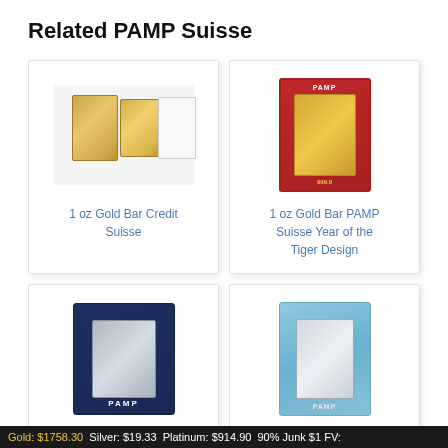Related PAMP Suisse
[Figure (photo): Gold bar Credit Suisse product image showing two gold bars with certificate]
1 oz Gold Bar Credit Suisse
[Figure (photo): 1 oz Gold Bar PAMP Suisse Year of the Tiger Design in red packaging]
1 oz Gold Bar PAMP Suisse Year of the Tiger Design
[Figure (photo): Pamp Suisse Fortuna 1 oz Platinum Bar in dark blue packaging]
Pamp Suisse Fortuna 1 oz Platinum Bar
[Figure (photo): PAMP Suisse Romanesque Cross 1 oz Silver Bar in light blue packaging]
PAMP Suisse Romanesque Cross 1 oz Silver Bar
Gold: $1758.30  Silver: $19.33  Platinum: $914.90  90% Junk $1 FV: